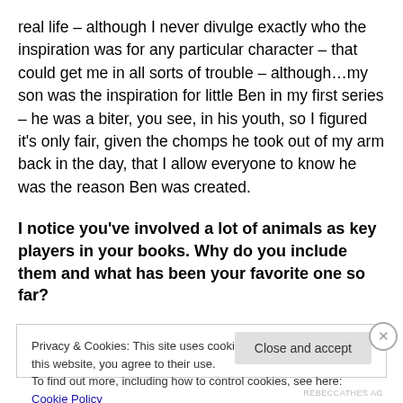real life – although I never divulge exactly who the inspiration was for any particular character – that could get me in all sorts of trouble – although…my son was the inspiration for little Ben in my first series – he was a biter, you see, in his youth, so I figured it's only fair, given the chomps he took out of my arm back in the day, that I allow everyone to know he was the reason Ben was created.
I notice you've involved a lot of animals as key players in your books. Why do you include them and what has been your favorite one so far?
Privacy & Cookies: This site uses cookies. By continuing to use this website, you agree to their use.
To find out more, including how to control cookies, see here: Cookie Policy